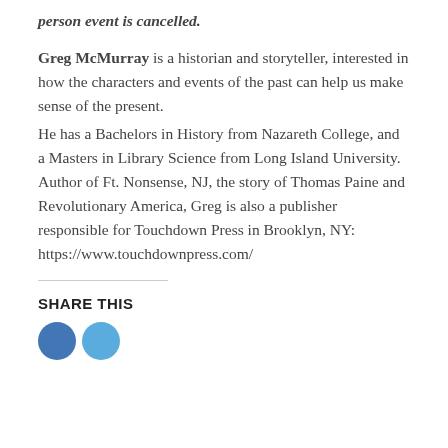person event is cancelled.
Greg McMurray is a historian and storyteller, interested in how the characters and events of the past can help us make sense of the present.
He has a Bachelors in History from Nazareth College, and a Masters in Library Science from Long Island University. Author of Ft. Nonsense, NJ, the story of Thomas Paine and Revolutionary America, Greg is also a publisher responsible for Touchdown Press in Brooklyn, NY: https://www.touchdownpress.com/
SHARE THIS